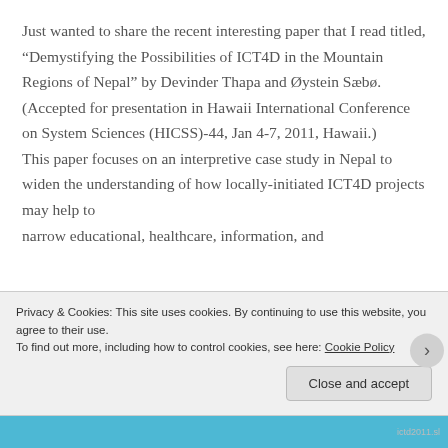Just wanted to share the recent interesting paper that I read titled, “Demystifying the Possibilities of ICT4D in the Mountain Regions of Nepal” by Devinder Thapa and Øystein Sæbø. (Accepted for presentation in Hawaii International Conference on System Sciences (HICSS)-44, Jan 4-7, 2011, Hawaii.) This paper focuses on an interpretive case study in Nepal to widen the understanding of how locally-initiated ICT4D projects may help to narrow educational, healthcare, information, and
Privacy & Cookies: This site uses cookies. By continuing to use this website, you agree to their use.
To find out more, including how to control cookies, see here: Cookie Policy
Close and accept